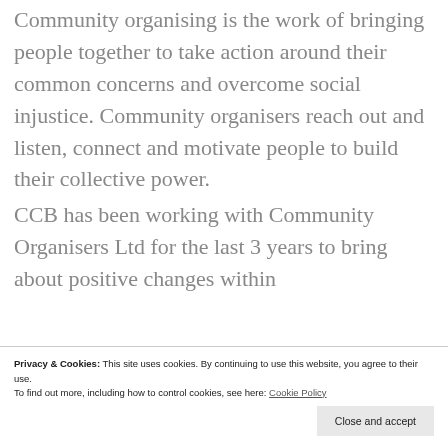Community organising is the work of bringing people together to take action around their common concerns and overcome social injustice. Community organisers reach out and listen, connect and motivate people to build their collective power.

CCB has been working with Community Organisers Ltd for the last 3 years to bring about positive changes within
Privacy & Cookies: This site uses cookies. By continuing to use this website, you agree to their use. To find out more, including how to control cookies, see here: Cookie Policy
Close and accept